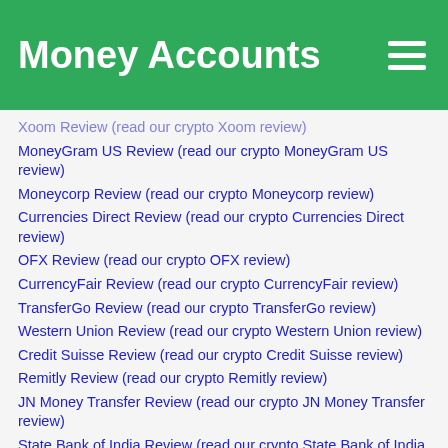Money Accounts
Xoom Review (read our crypto Xoom review)
MoneyGram US Review (read our crypto MoneyGram US review)
Moneycorp Review (read our crypto Moneycorp review)
Currencies Direct Review (read our crypto Currencies Direct review)
OFX Review (read our crypto OFX review)
CurrencyFair Review (read our crypto CurrencyFair review)
TransferGo Review (read our crypto TransferGo review)
Western Union Review (read our crypto Western Union review)
Credit Suisse Review (read our crypto Credit Suisse review)
Remitly Review (read our crypto Remitly review)
JN Money Transfer Review (read our crypto JN Money Transfer review)
State Bank of India Review (read our crypto State Bank of India review)
KlickEx Review (read our crypto KlickEx review)
UAE Exchange Review (read our crypto UAE Exchange review)
Best Send Money To Hong Kong Alternatives Guides